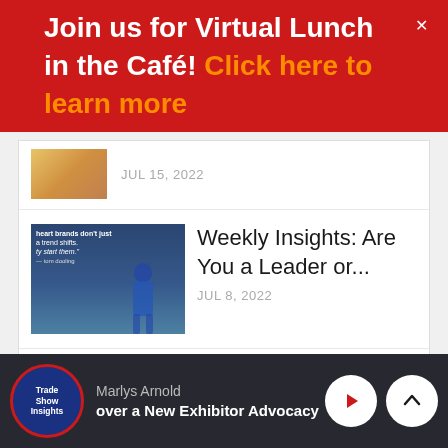Join us for Virtual Lunch in the Café! Click here to learn more
JUL 15, 2022
Weekly Insights: Are You a Leader or...
JUL 8, 2022
1  2  NEXT
Marlys Arnold
over a New Exhibitor Advocacy Reso